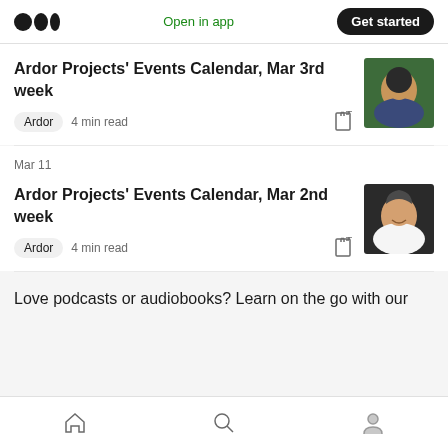Medium logo | Open in app | Get started
Ardor Projects' Events Calendar, Mar 3rd week
Ardor  4 min read
Mar 11
Ardor Projects' Events Calendar, Mar 2nd week
Ardor  4 min read
Love podcasts or audiobooks? Learn on the go with our
Home | Search | Profile